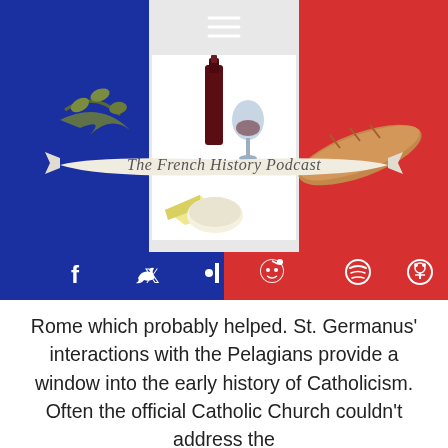[Figure (logo): The French History Podcast logo: French tricolor banner (blue, white, red) background. Center white rectangle with wine bottle, wine glass. Decorative ribbon banner reading 'The French History Podcast' in cursive script. Olive branch on left, baguette bread on right, cheese in front. Hamburger menu icon at top center. Social media icons bar below: Facebook, Twitter, Patreon, Reddit, Spotify, Podcast icons.]
Rome which probably helped. St. Germanus' interactions with the Pelagians provide a window into the early history of Catholicism. Often the official Catholic Church couldn't address the